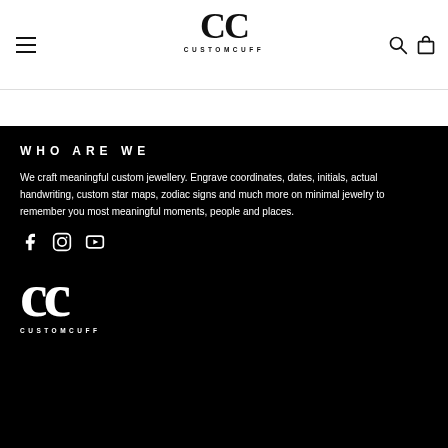[Figure (logo): CustomCuff logo with large CC letters and CUSTOMCUFF text below, black on white, centered in header]
WHO ARE WE
We craft meaningful custom jewellery. Engrave coordinates, dates, initials, actual handwriting, custom star maps, zodiac signs and much more on minimal jewelry to remember you most meaningful moments, people and places.
[Figure (illustration): Social media icons: Facebook, Instagram, YouTube]
[Figure (logo): CustomCuff logo large white CC and CUSTOMCUFF text, white on black background]